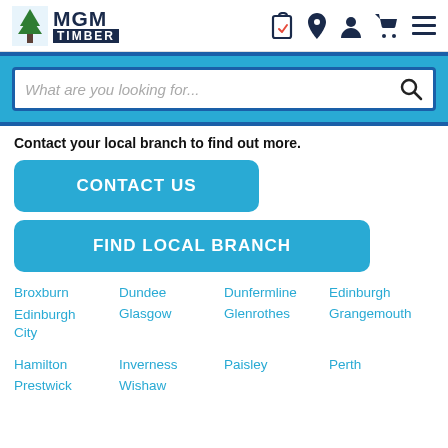[Figure (logo): MGM Timber logo with tree icon and company name]
[Figure (screenshot): Navigation icons: wishlist/clipboard, location pin, user account, shopping cart, hamburger menu]
[Figure (screenshot): Search bar with placeholder text 'What are you looking for...' and search icon, on blue background]
Contact your local branch to find out more.
CONTACT US
FIND LOCAL BRANCH
Broxburn
Dundee
Dunfermline
Edinburgh
Edinburgh City
Glasgow
Glenrothes
Grangemouth
Hamilton
Inverness
Paisley
Perth
Prestwick
Wishaw